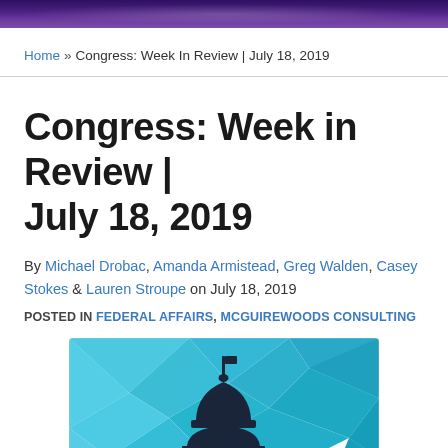McGuireWoods Consulting — Congress: Week In Review | July 18, 2019
Home » Congress: Week In Review | July 18, 2019
Congress: Week in Review | July 18, 2019
By Michael Drobac, Amanda Armistead, Greg Walden, Casey Stokes & Lauren Stroupe on July 18, 2019
POSTED IN FEDERAL AFFAIRS, MCGUIREWOODS CONSULTING
[Figure (illustration): Low-poly geometric illustration of the U.S. Capitol dome in dark silhouette against a blue geometric/faceted background with triangular shapes in shades of cyan, teal, and blue.]